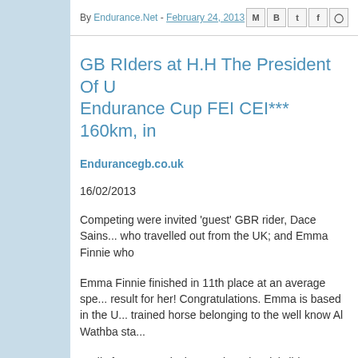By Endurance.Net - February 24, 2013
GB RIders at H.H The President Of U... Endurance Cup FEI CEI*** 160km, in
Endurancegb.co.uk
16/02/2013
Competing were invited 'guest' GBR rider, Dace Sains... who travelled out from the UK; and Emma Finnie who
Emma Finnie finished in 11th place at an average spe... result for her! Congratulations. Emma is based in the U... trained horse belonging to the well know Al Wathba sta...
Sadly for Dace Sainsbury Balotta (Lottie) did not pass... with 16km to go. Failed on pulse. Such a shame, but w